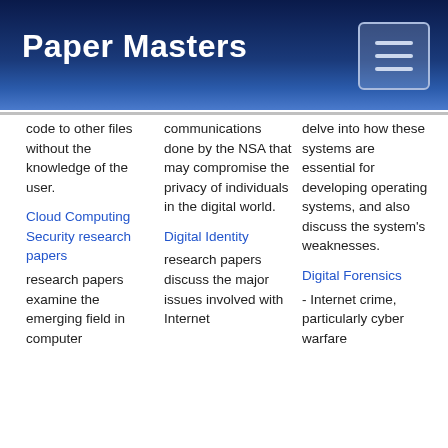Paper Masters
code to other files without the knowledge of the user.
Cloud Computing Security research papers research papers examine the emerging field in computer
communications done by the NSA that may compromise the privacy of individuals in the digital world.
Digital Identity research papers discuss the major issues involved with Internet
delve into how these systems are essential for developing operating systems, and also discuss the system's weaknesses.
Digital Forensics - Internet crime, particularly cyber warfare